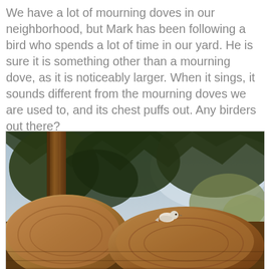We have a lot of mourning doves in our neighborhood, but Mark has been following a bird who spends a lot of time in our yard. He is sure it is something other than a mourning dove, as it is noticeably larger. When it sings, it sounds different from the mourning doves we are used to, and its chest puffs out. Any birders out there?
[Figure (photo): Outdoor garden scene showing two large tree stumps or pruned trunks in the foreground with a small white/grey bird (dove) perched on top of the right stump. Background shows tall trees with leafy canopy, shrubs, and a clear sky. A wooden post is visible on the left side.]